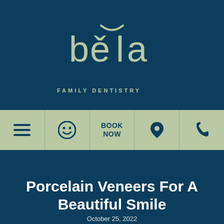[Figure (logo): Bela Family Dentistry logo — stylized lowercase 'bela' lettering in sage/light green with a curved smile arc above, and 'FAMILY DENTISTRY' in spaced caps below, on dark teal background]
[Figure (infographic): Navigation bar with 5 icons on sage green background: hamburger menu, smiley face, BOOK NOW text, map pin, phone handset]
Porcelain Veneers For A Beautiful Smile
October 25, 2022